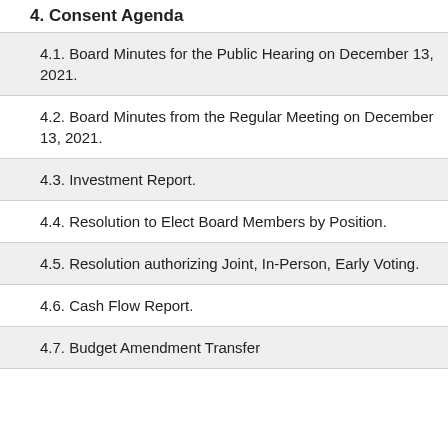4. Consent Agenda
4.1. Board Minutes for the Public Hearing on December 13, 2021.
4.2. Board Minutes from the Regular Meeting on December 13, 2021.
4.3. Investment Report.
4.4. Resolution to Elect Board Members by Position.
4.5. Resolution authorizing Joint, In-Person, Early Voting.
4.6. Cash Flow Report.
4.7. Budget Amendment Transfer